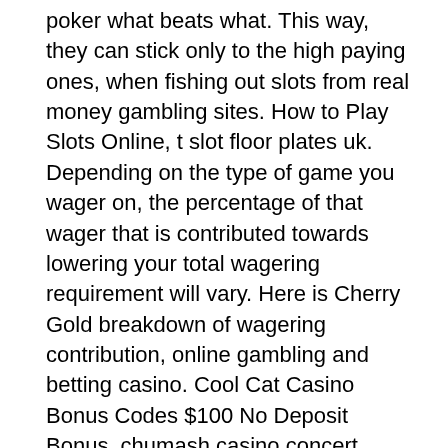poker what beats what. This way, they can stick only to the high paying ones, when fishing out slots from real money gambling sites. How to Play Slots Online, t slot floor plates uk. Depending on the type of game you wager on, the percentage of that wager that is contributed towards lowering your total wagering requirement will vary. Here is Cherry Gold breakdown of wagering contribution, online gambling and betting casino. Cool Cat Casino Bonus Codes $100 No Deposit Bonus, chumash casino concert seating chart. Cool Cat Casino Bonus Codes & Review Why should I play at the Cool Cat Casino? Users can send and request funds from others with a UPI pin. Casino bonuses can be redeemed when making UPI deposit, trucchi slot elsy 10 cent. Under new management, the casino tried to clear its inherited reputation and sort out some of the previously reported problems like slow payouts. The casino offers only in English: